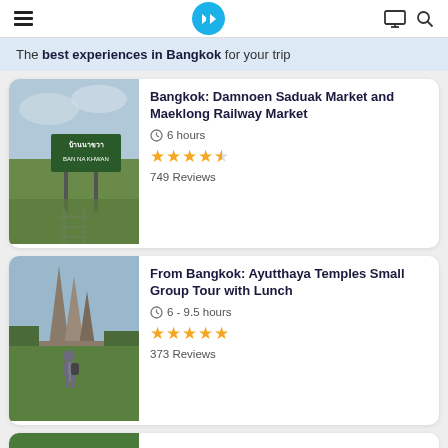Navigation bar with hamburger menu, logo, monitor icon and search icon
The best experiences in Bangkok for your trip
[Figure (photo): Railway market sign reading บ้านนาขวา / BAN NA KHWAN with green grass and tracks]
Bangkok: Damnoen Saduak Market and Maeklong Railway Market
6 hours
★★★★½  749 Reviews
[Figure (photo): Person standing in front of ancient temple ruins (Ayutthaya) on a sunny day]
From Bangkok: Ayutthaya Temples Small Group Tour with Lunch
6 - 9.5 hours
★★★★★  373 Reviews